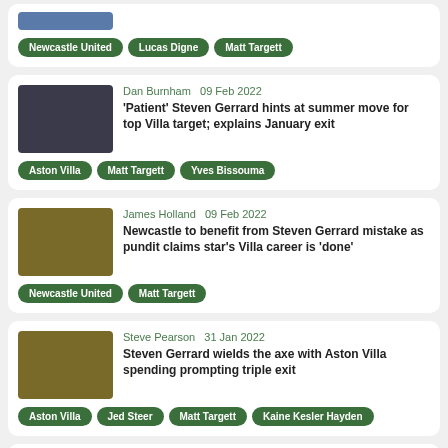Newcastle United | Lucas Digne | Matt Targett
Dan Burnham  09 Feb 2022 — 'Patient' Steven Gerrard hints at summer move for top Villa target; explains January exit
Aston Villa | Matt Targett | Yves Bissouma
James Holland  09 Feb 2022 — Newcastle to benefit from Steven Gerrard mistake as pundit claims star's Villa career is 'done'
Newcastle United | Matt Targett
Steve Pearson  31 Jan 2022 — Steven Gerrard wields the axe with Aston Villa spending prompting triple exit
Aston Villa | Jed Steer | Matt Targett | Kaine Kesler Hayden
Jonny Whitfield  31 Jan 2022